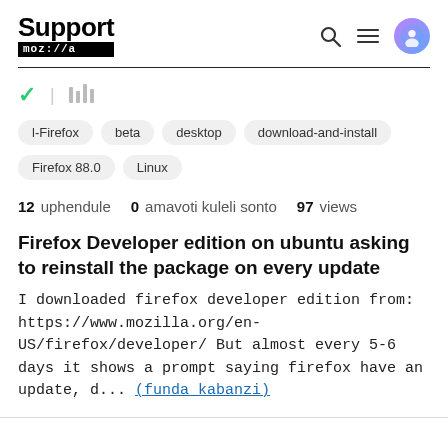Support mozilla//a
checkmark and library icons
l-Firefox
beta
desktop
download-and-install
Firefox 88.0
Linux
12 uphendule  0 amavoti kuleli sonto  97 views
Firefox Developer edition on ubuntu asking to reinstall the package on every update
I downloaded firefox developer edition from: https://www.mozilla.org/en-US/firefox/developer/ But almost every 5-6 days it shows a prompt saying firefox have an update, d... (funda kabanzi)